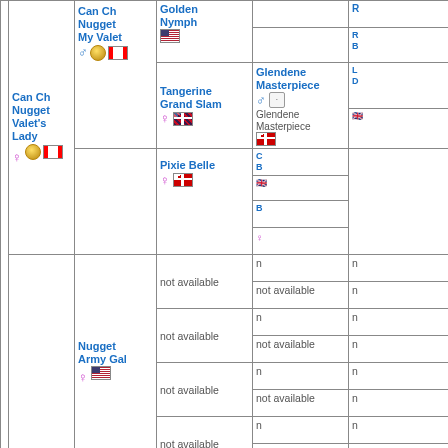|  |  | Can Ch Nugget My Valet ♂ 🥇 🇨🇦 | Golden Nymph 🇺🇸 | Tangerine Grand Slam ♀ 🇬🇧 | Glendene Masterpiece ♂ · Glendene Masterpiece 🇬🇧 |
|  | Can Ch Nugget Valet's Lady ♀ 🥇 🇨🇦 |  |  |  | Pixie Belle ♀ 🇬🇧 |
|  |  | Nugget Army Gal ♀ 🇺🇸 | not available | not available | not available |
|  |  |  |  | not available | not available |
|  |  | Am Ch | Glendene | not available |  |